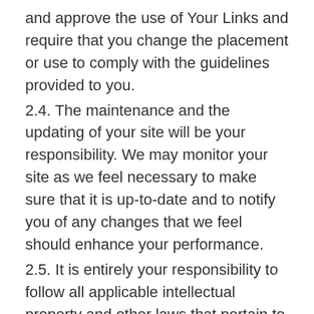and approve the use of Your Links and require that you change the placement or use to comply with the guidelines provided to you.
2.4. The maintenance and the updating of your site will be your responsibility. We may monitor your site as we feel necessary to make sure that it is up-to-date and to notify you of any changes that we feel should enhance your performance.
2.5. It is entirely your responsibility to follow all applicable intellectual property and other laws that pertain to your site.